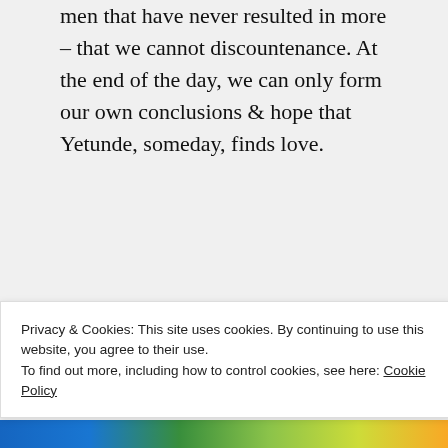men that have never resulted in more – that we cannot discountenance. At the end of the day, we can only form our own conclusions & hope that Yetunde, someday, finds love.
★ Liked by 1 person
↪ Reply
Privacy & Cookies: This site uses cookies. By continuing to use this website, you agree to their use.
To find out more, including how to control cookies, see here: Cookie Policy
Close and accept